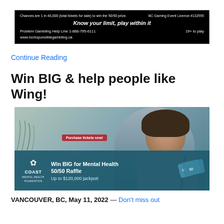[Figure (other): Black background responsible gambling disclaimer box. Text: 'Chances are 1 in 46,000 (total tickets for sale) to win the 50/50 prize. BC Gaming Event Licence #132555. Know your limit, play within it. Problem Gambling Help Line 1-888-795-6111. 19+ to play. www.bcresponsiblegambling.ca']
Continue Reading
Win BIG & help people like Wing!
[Figure (photo): Promotional image for Coast Mental Health Foundation Win BIG for Mental Health 50/50 Raffle. Shows a woman in a grey jacket against a grey/teal background. Red banner reads 'Purchase tickets now!'. Teal banner at bottom shows Coast Mental Health Foundation logo and text 'Win BIG for Mental Health 50/50 Raffle. Up to $120,000 jackpot!'. Ticket icons in bottom right.]
VANCOUVER, BC, May 11, 2022 — Don't miss out